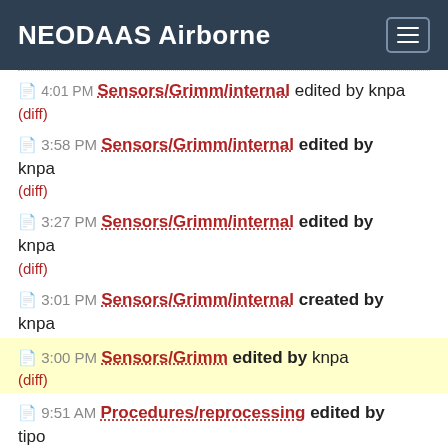NEODAAS Airborne
Sensors/Grimm/internal edited by knpa (diff)
3:58 PM Sensors/Grimm/internal edited by knpa (diff)
3:27 PM Sensors/Grimm/internal edited by knpa (diff)
3:01 PM Sensors/Grimm/internal created by knpa
3:00 PM Sensors/Grimm edited by knpa (diff)
9:51 AM Procedures/reprocessing edited by tipo